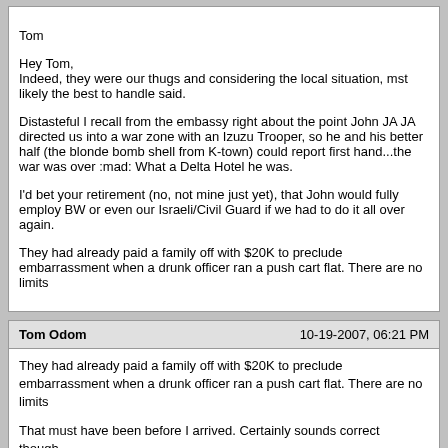Tom

Hey Tom,
Indeed, they were our thugs and considering the local situation, mst likely the best to handle said.

Distasteful I recall from the embassy right about the point John JA JA directed us into a war zone with an Izuzu Trooper, so he and his better half (the blonde bomb shell from K-town) could report first hand...the war was over :mad: What a Delta Hotel he was.

I'd bet your retirement (no, not mine just yet), that John would fully employ BW or even our Israeli/Civil Guard if we had to do it all over again.

They had already paid a family off with $20K to preclude embarrassment when a drunk officer ran a push cart flat. There are no limits
Tom Odom | 10-19-2007, 06:21 PM

They had already paid a family off with $20K to preclude embarrassment when a drunk officer ran a push cart flat. There are no limits

That must have been before I arrived. Certainly sounds correct though...

Indeed, they were our thugs and considering the local situation, mst likely the best to handle said.

That was what Gerald said, "Tom, they are thugs,' in that fake Brit accent of disdain. To which I replied, "Of course they are and that is why I want to hire them."

But always remember, John and his mate wanted us -- you and me --as their escorts when they braved crossing the border into Rwanda for 300 yards...:eek: